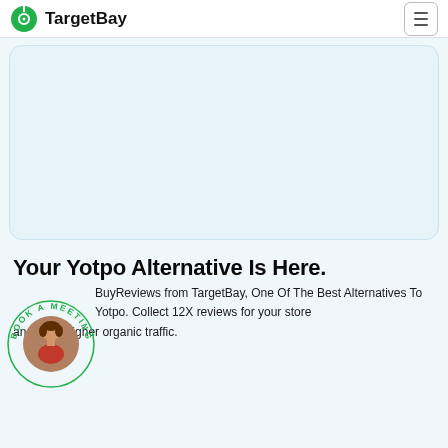TargetBay
[Figure (other): Empty light blue rounded card/placeholder area]
Your Yotpo Alternative Is Here.
[Figure (photo): Circular badge with 'BOOK A MEETING' text around the edge and a photo of a woman in the center]
BuyReviews from TargetBay, One Of The Best Alternatives To Yotpo. Collect 12X reviews for your store and drive higher organic traffic.